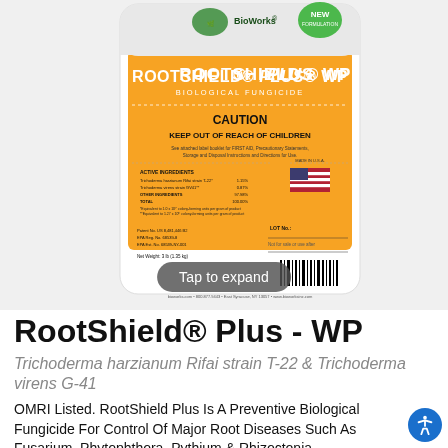[Figure (photo): Product photo of RootShield Plus WP Biological Fungicide bag by BioWorks. Orange and white foil bag showing label with CAUTION, KEEP OUT OF REACH OF CHILDREN, active ingredients, and barcode. A 'NEW FORMULATION' badge is visible top right. A 'Tap to expand' button overlays the bottom center.]
RootShield® Plus - WP
Trichoderma harzianum Rifai strain T-22 & Trichoderma virens G-41
OMRI Listed. RootShield Plus Is A Preventive Biological Fungicide For Control Of Major Root Diseases Such As Fusarium, Phytophthora, Pythium & Rhizoctonia